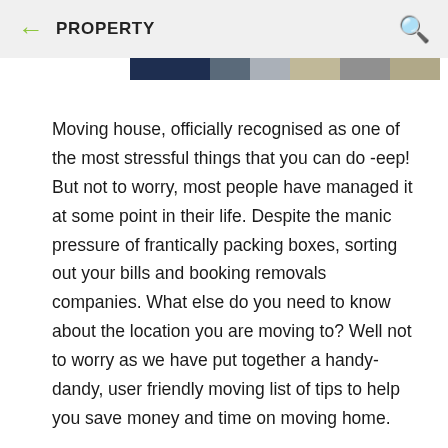PROPERTY
[Figure (photo): Partial image strip showing a property or street scene, cropped at the top of the content area]
Moving house, officially recognised as one of the most stressful things that you can do -eep! But not to worry, most people have managed it at some point in their life. Despite the manic pressure of frantically packing boxes, sorting out your bills and booking removals companies. What else do you need to know about the location you are moving to? Well not to worry as we have put together a handy-dandy, user friendly moving list of tips to help you save money and time on moving home.